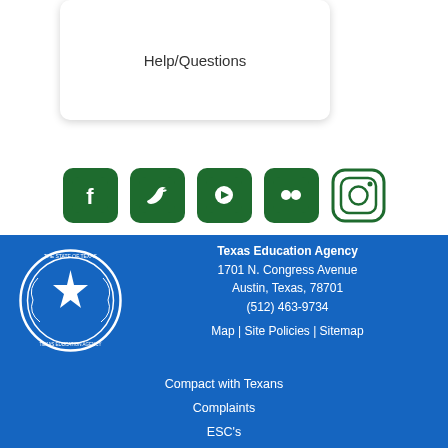Help/Questions
[Figure (infographic): Social media icons: Facebook, Twitter, YouTube, Flickr, Instagram — all in dark green rounded square style]
[Figure (logo): The State of Texas / Texas Education Agency circular seal in white on blue background]
Texas Education Agency
1701 N. Congress Avenue
Austin, Texas, 78701
(512) 463-9734
Map | Site Policies | Sitemap
Compact with Texans
Complaints
ESC's